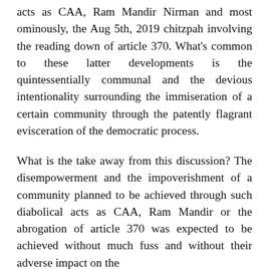acts as CAA, Ram Mandir Nirman and most ominously, the Aug 5th, 2019 chitzpah involving the reading down of article 370. What's common to these latter developments is the quintessentially communal and the devious intentionality surrounding the immiseration of a certain community through the patently flagrant evisceration of the democratic process.
What is the take away from this discussion? The disempowerment and the impoverishment of a community planned to be achieved through such diabolical acts as CAA, Ram Mandir or the abrogation of article 370 was expected to be achieved without much fuss and without their adverse impact on the